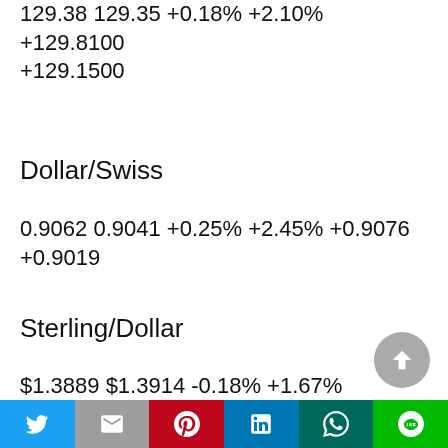129.38 129.35 +0.18% +2.10% +129.8100 +129.1500
Dollar/Swiss
0.9062 0.9041 +0.25% +2.45% +0.9076 +0.9019
Sterling/Dollar
$1.3889 $1.3914 -0.18% +1.67% +$1.3957